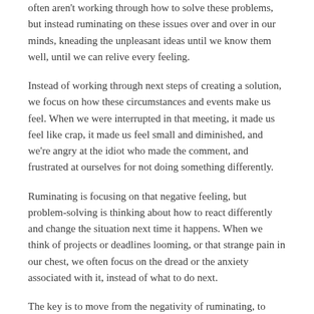often aren't working through how to solve these problems, but instead ruminating on these issues over and over in our minds, kneading the unpleasant ideas until we know them well, until we can relive every feeling.
Instead of working through next steps of creating a solution, we focus on how these circumstances and events make us feel. When we were interrupted in that meeting, it made us feel like crap, it made us feel small and diminished, and we're angry at the idiot who made the comment, and frustrated at ourselves for not doing something differently.
Ruminating is focusing on that negative feeling, but problem-solving is thinking about how to react differently and change the situation next time it happens. When we think of projects or deadlines looming, or that strange pain in our chest, we often focus on the dread or the anxiety associated with it, instead of what to do next.
The key is to move from the negativity of ruminating, to focusing on what to do next.
They are...